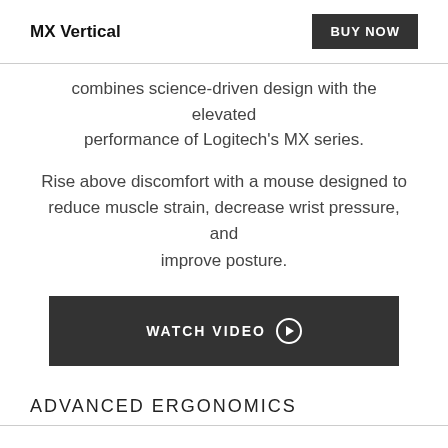MX Vertical
combines science-driven design with the elevated performance of Logitech's MX series.
Rise above discomfort with a mouse designed to reduce muscle strain, decrease wrist pressure, and improve posture.
[Figure (other): WATCH VIDEO button with play icon]
ADVANCED ERGONOMICS
[Figure (photo): Three partially visible product/lifestyle images at the bottom of the page]